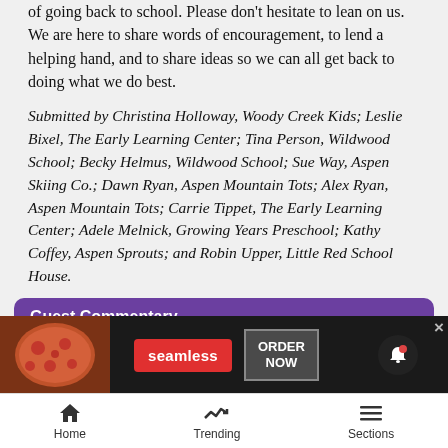of going back to school. Please don't hesitate to lean on us. We are here to share words of encouragement, to lend a helping hand, and to share ideas so we can all get back to doing what we do best.
Submitted by Christina Holloway, Woody Creek Kids; Leslie Bixel, The Early Learning Center; Tina Person, Wildwood School; Becky Helmus, Wildwood School; Sue Way, Aspen Skiing Co.; Dawn Ryan, Aspen Mountain Tots; Alex Ryan, Aspen Mountain Tots; Carrie Tippet, The Early Learning Center; Adele Melnick, Growing Years Preschool; Kathy Coffey, Aspen Sprouts; and Robin Upper, Little Red School House.
Guest Commentary
[Figure (other): Seamless food delivery advertisement banner with pizza image, seamless red logo button, and ORDER NOW button]
Home  Trending  Sections